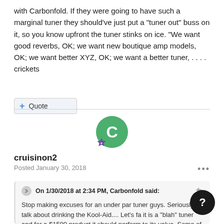with Carbonfold.  If they were going to have such a marginal tuner they should've just put a "tuner out" buss on it, so you know upfront the tuner stinks on ice.  "We want good reverbs, OK; we want new boutique amp models, OK; we want better XYZ, OK; we want a better tuner, . . . . crickets
+ Quote
[Figure (illustration): Green circle avatar with letter C and a small purple badge icon]
cruisinon2
Posted January 30, 2018
On 1/30/2018 at 2:34 PM, Carbonfold said: Stop making excuses for an under par tuner guys. Seriously talk about drinking the Kool-Aid.... Let's fa it is a "blah" tuner and for a $1500 product it should perform to its value. Some of us have a lot of experience